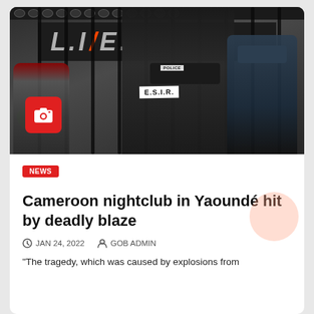[Figure (photo): Police officers wearing E.S.I.R. uniforms standing in front of a metal gate with a 'LIVE' sign painted on it. A red camera icon overlay is visible in the lower left of the image.]
NEWS
Cameroon nightclub in Yaoundé hit by deadly blaze
JAN 24, 2022   GOB ADMIN
“The tragedy, which was caused by explosions from